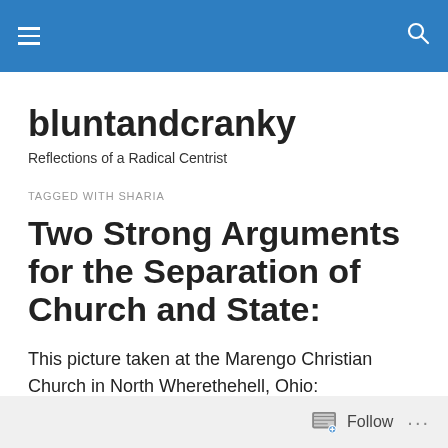bluntandcranky [hamburger menu icon] [search icon]
bluntandcranky
Reflections of a Radical Centrist
TAGGED WITH SHARIA
Two Strong Arguments for the Separation of Church and State:
This picture taken at the Marengo Christian Church in North Wherethehell, Ohio:
Follow ...